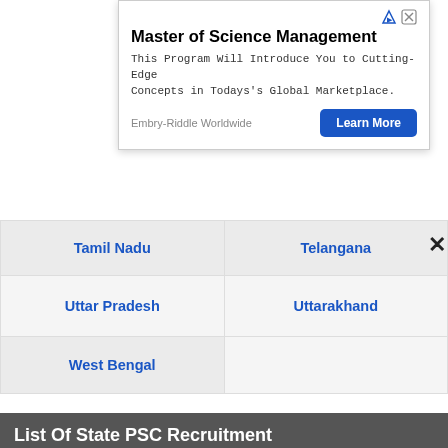[Figure (screenshot): Advertisement banner for Master of Science Management from Embry-Riddle Worldwide with Learn More button]
| Tamil Nadu | Telangana |
| Uttar Pradesh | Uttarakhand |
| West Bengal |  |
List Of State PSC Recruitment
| APPSC Recruitment | APSC Recruitment |
| Arunachal PSC | BPSC Recruitment |
| CGPSC Recruitment | Goa PSC Recruitment |
| GPSC Recruitment | HPPSC Recruitment |